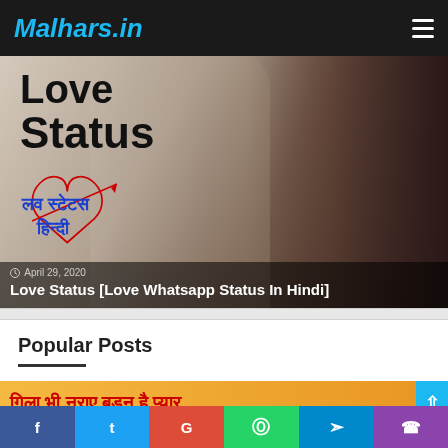Malhars.in
[Figure (photo): Hero image showing a couple close together with text overlays: 'Love Status' in large black bold text, Hindi text in blue, date April 29, 2020, and title 'Love Status [Love Whatsapp Status In Hindi]']
Popular Posts
[Figure (photo): Thumbnail strip showing Hindi text in red on orange/yellow background, with scroll-to-top button]
Social share bar: f  t  G  WhatsApp  Telegram  Phone